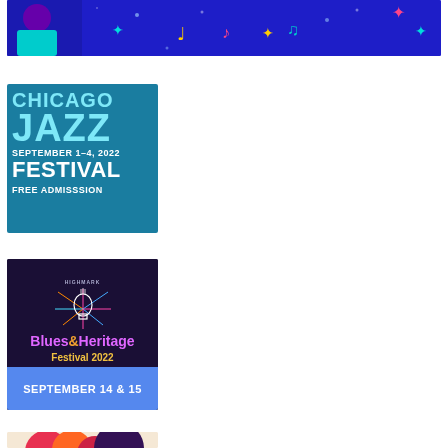[Figure (illustration): A colorful banner/header image with a dark blue background featuring musical notes (in yellow, pink, red), decorative star/sparkle shapes (in teal, pink, gold), and partial view of a jazz musician on the left side.]
[Figure (illustration): Chicago Jazz Festival poster with teal/blue background. Large bold text 'CHICAGO JAZZ FESTIVAL' in teal and white, date 'SEPTEMBER 1-4, 2022' in white, and 'FREE ADMISSSION' in white at the bottom.]
[Figure (illustration): Highmark Blues & Heritage Festival 2022 poster with dark navy background featuring a light bulb guitar graphic with radiating lines. Text reads 'Blues & Heritage Festival 2022' with a cyan/purple banner at the bottom reading 'SEPTEMBER 14 & 15'.]
[Figure (illustration): Partial view of a third festival poster with light beige/cream background, showing top portion of colorful graphic elements including pink, red, and orange shapes.]